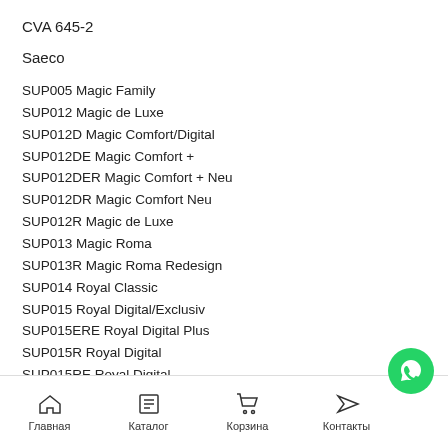CVA 645-2
Saeco
SUP005 Magic Family
SUP012 Magic de Luxe
SUP012D Magic Comfort/Digital
SUP012DE Magic Comfort +
SUP012DER Magic Comfort + Neu
SUP012DR Magic Comfort Neu
SUP012R Magic de Luxe
SUP013 Magic Roma
SUP013R Magic Roma Redesign
SUP014 Royal Classic
SUP015 Royal Digital/Exclusiv
SUP015ERE Royal Digital Plus
SUP015R Royal Digital
SUP015RE Royal Digital
SUP015ST Stratos
SUP015V Royal Office
SUP016 Royal Professional (partial)
Главная | Каталог | Корзина | Контакты